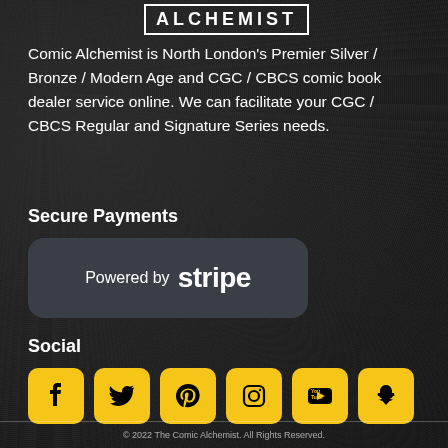ALCHEMIST
Comic Alchemist is North London's Premier Silver / Bronze / Modern Age and CGC / CBCS comic book dealer service online. We can facilitate your CGC / CBCS Regular and Signature Series needs.
Secure Payments
[Figure (logo): Powered by stripe badge — dark grey rounded rectangle containing the text 'Powered by stripe']
Social
[Figure (infographic): Row of six yellow rounded square social media icons: Facebook, Twitter, Pinterest, Instagram, YouTube, Snapchat]
© 2022 The Comic Alchemist. All Rights Reserved.